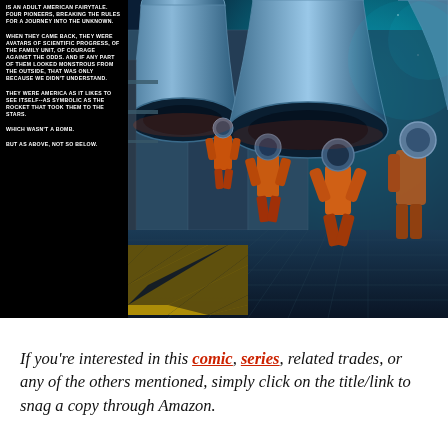[Figure (illustration): Comic book page spread showing four astronauts/space-suited figures running toward massive rocket engines in a sci-fi industrial setting. Left side is a black panel with white bold uppercase text narration boxes. Right side shows detailed color illustration with blue-teal tones, large rocket nozzles, industrial scaffolding, and figures in orange suits with blue helmets.]
If you're interested in this comic, series, related trades, or any of the others mentioned, simply click on the title/link to snag a copy through Amazon.